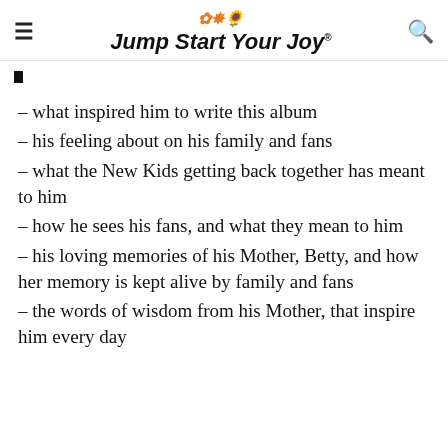Jump Start Your Joy
– what inspired him to write this album
– his feeling about on his family and fans
– what the New Kids getting back together has meant to him
– how he sees his fans, and what they mean to him
– his loving memories of his Mother, Betty, and how her memory is kept alive by family and fans
– the words of wisdom from his Mother, that inspire him every day